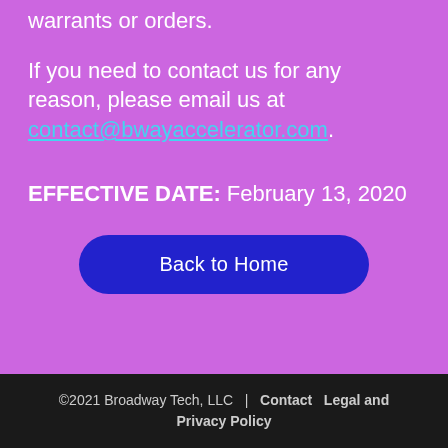warrants or orders.
If you need to contact us for any reason, please email us at contact@bwayaccelerator.com.
EFFECTIVE DATE: February 13, 2020
Back to Home
©2021 Broadway Tech, LLC  |  Contact  Legal and Privacy Policy